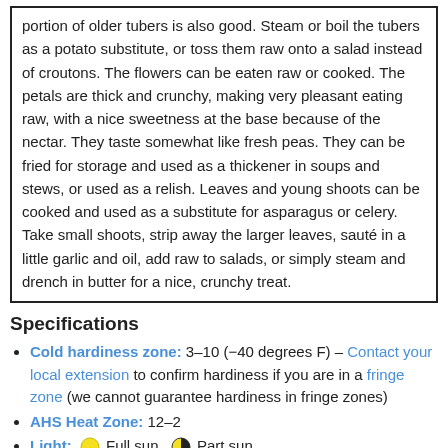portion of older tubers is also good. Steam or boil the tubers as a potato substitute, or toss them raw onto a salad instead of croutons. The flowers can be eaten raw or cooked. The petals are thick and crunchy, making very pleasant eating raw, with a nice sweetness at the base because of the nectar. They taste somewhat like fresh peas. They can be fried for storage and used as a thickener in soups and stews, or used as a relish. Leaves and young shoots can be cooked and used as a substitute for asparagus or celery. Take small shoots, strip away the larger leaves, sauté in a little garlic and oil, add raw to salads, or simply steam and drench in butter for a nice, crunchy treat.
Specifications
Cold hardiness zone: 3–10 (−40 degrees F) – Contact your local extension to confirm hardiness if you are in a fringe zone (we cannot guarantee hardiness in fringe zones)
AHS Heat Zone: 12–2
Light: Full sun  Part sun
Growth rate: Moderate
Mature height: 24–30"
Spread: 12–24"
Spacing: 8–15"